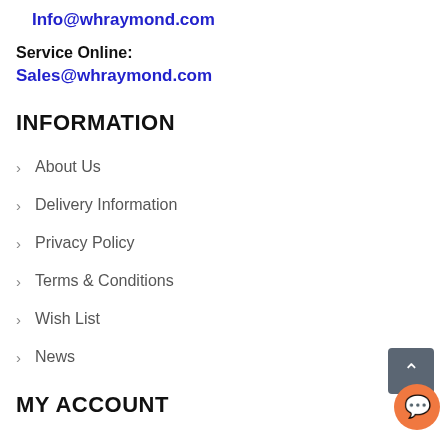Info@whraymond.com
Service Online:
Sales@whraymond.com
INFORMATION
About Us
Delivery Information
Privacy Policy
Terms & Conditions
Wish List
News
MY ACCOUNT